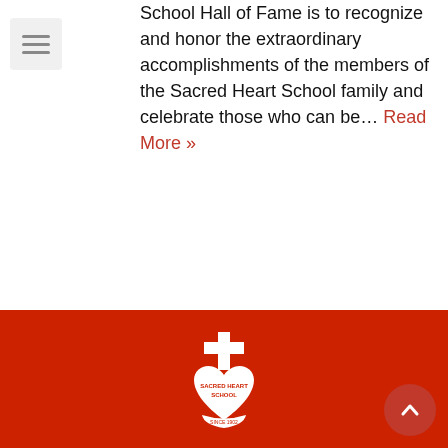[Figure (other): Hamburger/menu icon — three horizontal lines in a light gray square box]
School Hall of Fame is to recognize and honor the extraordinary accomplishments of the members of the Sacred Heart School family and celebrate those who can be... Read More »
[Figure (logo): Sacred Heart School logo — white cross above a heart shape with text 'SACRED HEART SCHOOL' and 'SINCE 1902' on a red background]
[Figure (other): Back-to-top button — dark red circle with a white upward-pointing chevron arrow, positioned at bottom right]